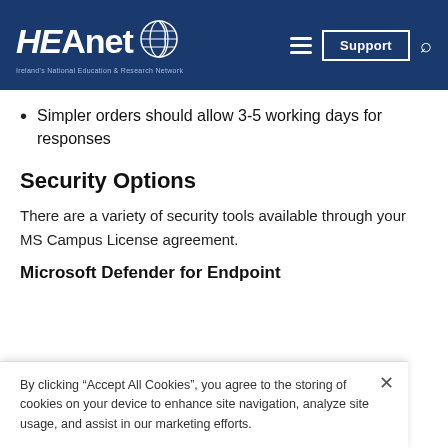HEAnet — Ireland's National Education & Research Network
Simpler orders should allow 3-5 working days for responses
Security Options
There are a variety of security tools available through your MS Campus License agreement.
Microsoft Defender for Endpoint
By clicking “Accept All Cookies”, you agree to the storing of cookies on your device to enhance site navigation, analyze site usage, and assist in our marketing efforts.